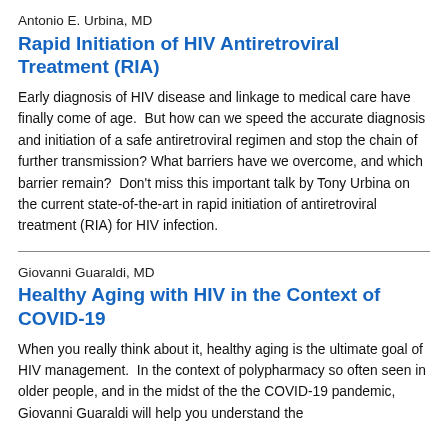Antonio E. Urbina, MD
Rapid Initiation of HIV Antiretroviral Treatment (RIA)
Early diagnosis of HIV disease and linkage to medical care have finally come of age.  But how can we speed the accurate diagnosis and initiation of a safe antiretroviral regimen and stop the chain of further transmission? What barriers have we overcome, and which barrier remain?  Don't miss this important talk by Tony Urbina on the current state-of-the-art in rapid initiation of antiretroviral treatment (RIA) for HIV infection.
Giovanni Guaraldi, MD
Healthy Aging with HIV in the Context of COVID-19
When you really think about it, healthy aging is the ultimate goal of HIV management.  In the context of polypharmacy so often seen in older people, and in the midst of the the COVID-19 pandemic, Giovanni Guaraldi will help you understand the